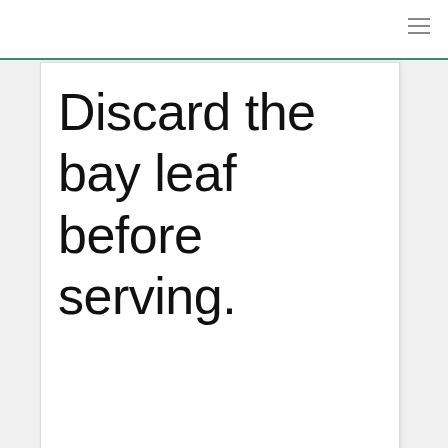Discard the bay leaf before serving.